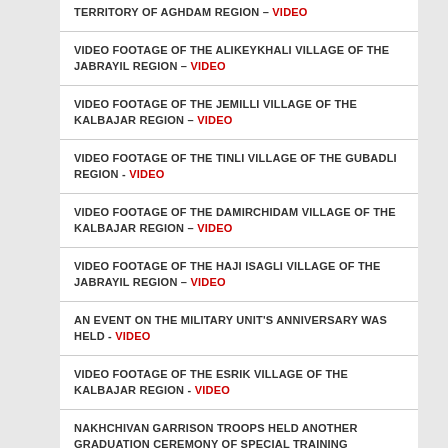TERRITORY OF AGHDAM REGION – VIDEO
VIDEO FOOTAGE OF THE ALIKEYKHALI VILLAGE OF THE JABRAYIL REGION – VIDEO
VIDEO FOOTAGE OF THE JEMILLI VILLAGE OF THE KALBAJAR REGION – VIDEO
VIDEO FOOTAGE OF THE TINLI VILLAGE OF THE GUBADLI REGION - VIDEO
VIDEO FOOTAGE OF THE DAMIRCHIDAM VILLAGE OF THE KALBAJAR REGION – VIDEO
VIDEO FOOTAGE OF THE HAJI ISAGLI VILLAGE OF THE JABRAYIL REGION – VIDEO
AN EVENT ON THE MILITARY UNIT'S ANNIVERSARY WAS HELD - VIDEO
VIDEO FOOTAGE OF THE ESRIK VILLAGE OF THE KALBAJAR REGION - VIDEO
NAKHCHIVAN GARRISON TROOPS HELD ANOTHER GRADUATION CEREMONY OF SPECIAL TRAINING COURSES – VIDEO